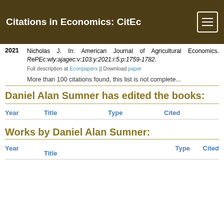Citations in Economics: CitEc
2021 Nicholas J. In: American Journal of Agricultural Economics. RePEc:wly:ajagec:v:103:y:2021:i:5:p:1759-1782. Full description at Econpapers || Download paper
More than 100 citations found, this list is not complete...
Daniel Alan Sumner has edited the books:
| Year | Title | Type | Cited |
| --- | --- | --- | --- |
Works by Daniel Alan Sumner:
| Year | Title | Type | Cited |
| --- | --- | --- | --- |